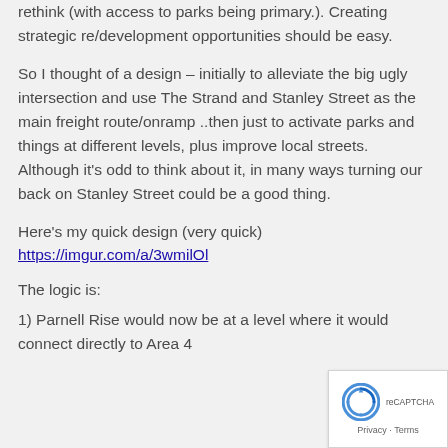rethink (with access to parks being primary.). Creating strategic re/development opportunities should be easy.
So I thought of a design – initially to alleviate the big ugly intersection and use The Strand and Stanley Street as the main freight route/onramp ..then just to activate parks and things at different levels, plus improve local streets. Although it's odd to think about it, in many ways turning our back on Stanley Street could be a good thing.
Here's my quick design (very quick)
https://imgur.com/a/3wmilOl
The logic is:
1) Parnell Rise would now be at a level where it could connect directly to Area 4
[Figure (other): reCAPTCHA privacy badge in bottom right corner]